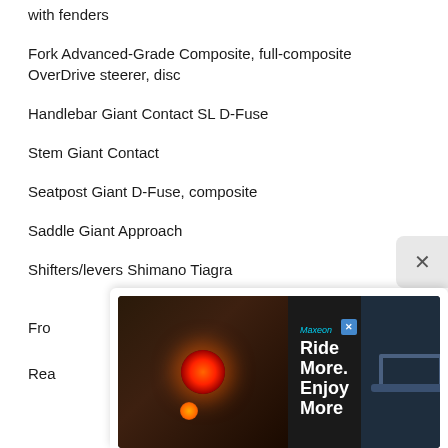with fenders
Fork Advanced-Grade Composite, full-composite OverDrive steerer, disc
Handlebar Giant Contact SL D-Fuse
Stem Giant Contact
Seatpost Giant D-Fuse, composite
Saddle Giant Approach
Shifters/levers Shimano Tiagra
Fro[nt derailleur - partially obscured by ad]
Rea[r derailleur - partially obscured by ad]
[Figure (screenshot): Advertisement overlay showing 'Ride More. Enjoy More' with a bicycle light image and close button]